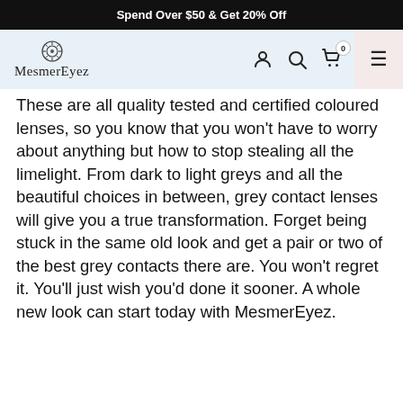Spend Over $50 & Get 20% Off
[Figure (logo): MesmerEyez logo with decorative circular icon above the brand name]
These are all quality tested and certified coloured lenses, so you know that you won't have to worry about anything but how to stop stealing all the limelight. From dark to light greys and all the beautiful choices in between, grey contact lenses will give you a true transformation. Forget being stuck in the same old look and get a pair or two of the best grey contacts there are. You won't regret it. You'll just wish you'd done it sooner. A whole new look can start today with MesmerEyez.